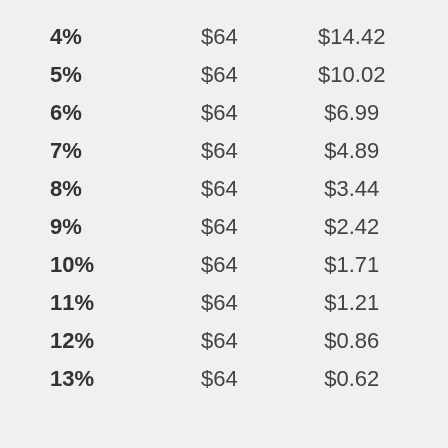| 4% | $64 | $14.42 |
| 5% | $64 | $10.02 |
| 6% | $64 | $6.99 |
| 7% | $64 | $4.89 |
| 8% | $64 | $3.44 |
| 9% | $64 | $2.42 |
| 10% | $64 | $1.71 |
| 11% | $64 | $1.21 |
| 12% | $64 | $0.86 |
| 13% | $64 | $0.62 |